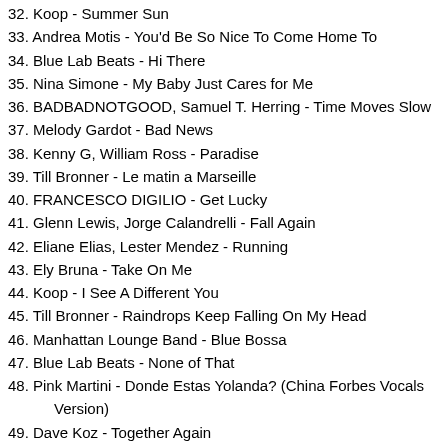32. Koop - Summer Sun
33. Andrea Motis - You'd Be So Nice To Come Home To
34. Blue Lab Beats - Hi There
35. Nina Simone - My Baby Just Cares for Me
36. BADBADNOTGOOD, Samuel T. Herring - Time Moves Slow
37. Melody Gardot - Bad News
38. Kenny G, William Ross - Paradise
39. Till Bronner - Le matin a Marseille
40. FRANCESCO DIGILIO - Get Lucky
41. Glenn Lewis, Jorge Calandrelli - Fall Again
42. Eliane Elias, Lester Mendez - Running
43. Ely Bruna - Take On Me
44. Koop - I See A Different You
45. Till Bronner - Raindrops Keep Falling On My Head
46. Manhattan Lounge Band - Blue Bossa
47. Blue Lab Beats - None of That
48. Pink Martini - Donde Estas Yolanda? (China Forbes Vocals Version)
49. Dave Koz - Together Again
50. Francesca Gramegna, Papik - Voce Me Apareceu
51. BADBADNOTGOOD, Samuel T. Herring - I Don't Know
52. fox capture plan - Kurikaesareru Jiku No Waltz Ha Sen No Yume Wo Katari